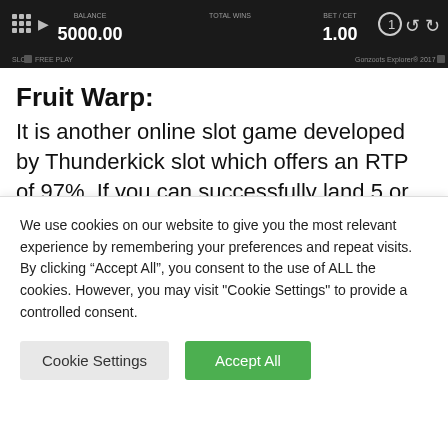[Figure (screenshot): Slot game UI screenshot showing a dark toolbar with game controls, balance of 5000.00, and bet of 1.00. FREE PLAY mode indicated.]
Fruit Warp:
It is another online slot game developed by Thunderkick slot which offers an RTP of 97%. If you can successfully land 5 or more fruit symbols, you will be rewarded with free spins and exciting bonuses. You can also win
We use cookies on our website to give you the most relevant experience by remembering your preferences and repeat visits. By clicking "Accept All", you consent to the use of ALL the cookies. However, you may visit "Cookie Settings" to provide a controlled consent.